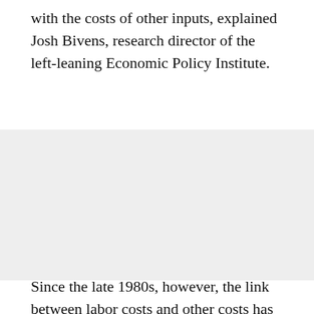with the costs of other inputs, explained Josh Bivens, research director of the left-leaning Economic Policy Institute.
[Figure (other): A light gray placeholder image occupying the middle portion of the page.]
Since the late 1980s, however, the link between labor costs and other costs has been severed.